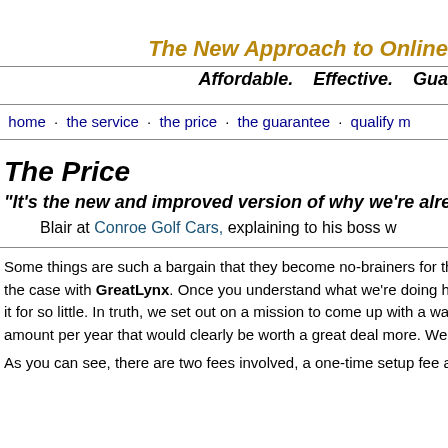The New Approach to Online
Affordable.   Effective.   Gua
home · the service · the price · the guarantee · qualify m
The Price
"It's the new and improved version of why we're already doing
Blair at Conroe Golf Cars, explaining to his boss w
Some things are such a bargain that they become no-brainers for those who the case with GreatLynx. Once you understand what we're doing here, you it for so little. In truth, we set out on a mission to come up with a way to offer amount per year that would clearly be worth a great deal more. We've outdo
As you can see, there are two fees involved, a one-time setup fee and then